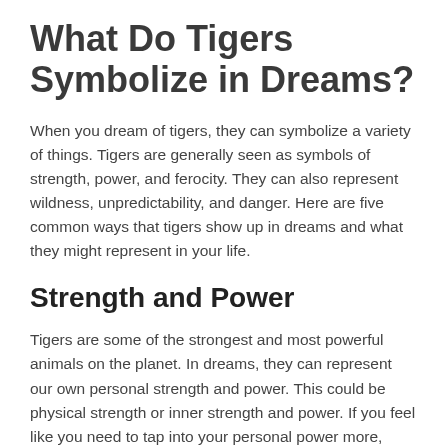What Do Tigers Symbolize in Dreams?
When you dream of tigers, they can symbolize a variety of things. Tigers are generally seen as symbols of strength, power, and ferocity. They can also represent wildness, unpredictability, and danger. Here are five common ways that tigers show up in dreams and what they might represent in your life.
Strength and Power
Tigers are some of the strongest and most powerful animals on the planet. In dreams, they can represent our own personal strength and power. This could be physical strength or inner strength and power. If you feel like you need to tap into your personal power more, dreaming of